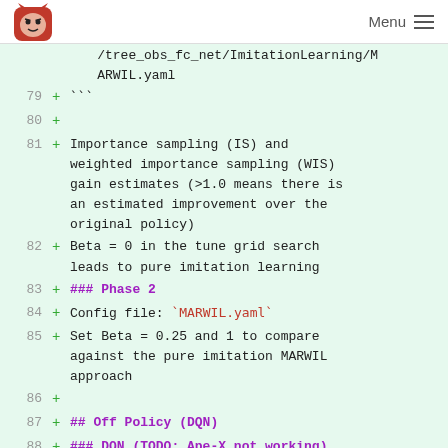Menu
/tree_obs_fc_net/ImitationLearning/MARWIL.yaml
79 + ```
80 +
81 + Importance sampling (IS) and weighted importance sampling (WIS) gain estimates (>1.0 means there is an estimated improvement over the original policy)
82 + Beta = 0 in the tune grid search leads to pure imitation learning
83 + ### Phase 2
84 + Config file: `MARWIL.yaml`
85 + Set Beta = 0.25 and 1 to compare against the pure imitation MARWIL approach
86 +
87 + ## Off Policy (DQN)
88 + ### DQN (TODO: Ape-X not working)
89 + #### Phase 1